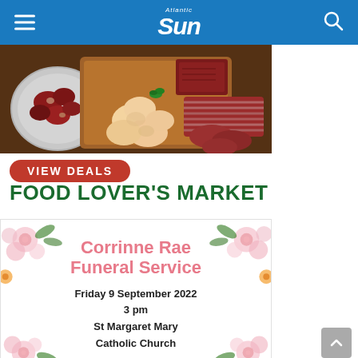Atlantic Sun
[Figure (photo): Assorted raw meats including beef chunks in a bowl, raw chicken pieces, sausages, and diced meats on a wooden cutting board]
VIEW DEALS
FOOD LOVER'S MARKET
[Figure (illustration): Corrinne Rae Funeral Service advertisement with floral decorations. Text: Corrinne Rae Funeral Service. Friday 9 September 2022. 3 pm. St Margaret Mary Catholic Church]